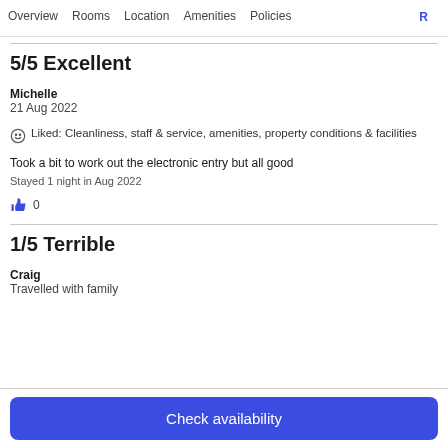Overview  Rooms  Location  Amenities  Policies  R
5/5 Excellent
Michelle
21 Aug 2022
Liked: Cleanliness, staff & service, amenities, property conditions & facilities
Took a bit to work out the electronic entry but all good
Stayed 1 night in Aug 2022
0
1/5 Terrible
Craig
Travelled with family
Check availability